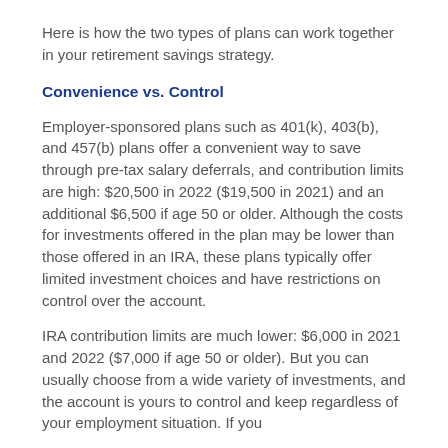Here is how the two types of plans can work together in your retirement savings strategy.
Convenience vs. Control
Employer-sponsored plans such as 401(k), 403(b), and 457(b) plans offer a convenient way to save through pre-tax salary deferrals, and contribution limits are high: $20,500 in 2022 ($19,500 in 2021) and an additional $6,500 if age 50 or older. Although the costs for investments offered in the plan may be lower than those offered in an IRA, these plans typically offer limited investment choices and have restrictions on control over the account.
IRA contribution limits are much lower: $6,000 in 2021 and 2022 ($7,000 if age 50 or older). But you can usually choose from a wide variety of investments, and the account is yours to control and keep regardless of your employment situation. If you